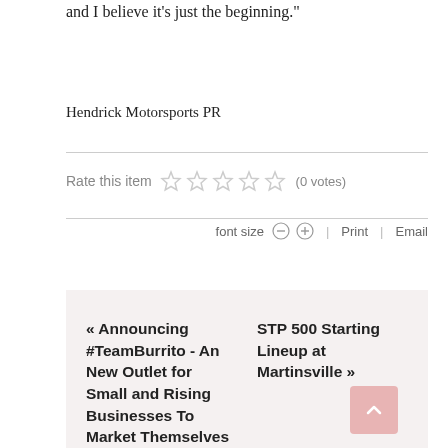and I believe it’s just the beginning.”
Hendrick Motorsports PR
Rate this item (0 votes)
font size  Print  Email
« Announcing #TeamBurrito - An New Outlet for Small and Rising Businesses To Market Themselves
STP 500 Starting Lineup at Martinsville »